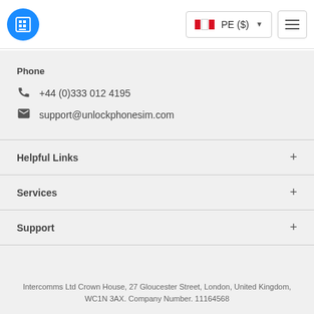[Figure (logo): Blue circle logo with white grid/SIM card icon]
PE ($)
Phone
+44 (0)333 012 4195
support@unlockphonesim.com
Helpful Links
Services
Support
Intercomms Ltd Crown House, 27 Gloucester Street, London, United Kingdom, WC1N 3AX. Company Number. 11164568